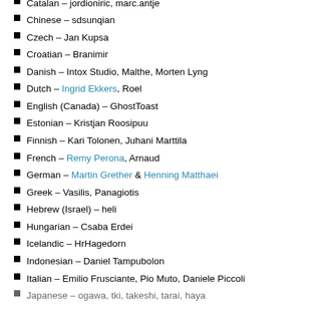Catalan – jordioniric, marc.antje
Chinese – sdsunqian
Czech – Jan Kupsa
Croatian – Branimir
Danish – Intox Studio, Malthe, Morten Lyng
Dutch – Ingrid Ekkers, Roel
English (Canada) – GhostToast
Estonian – Kristjan Roosipuu
Finnish – Kari Tolonen, Juhani Marttila
French – Remy Perona, Arnaud
German – Martin Grether & Henning Matthaei
Greek – Vasilis, Panagiotis
Hebrew (Israel) – heli
Hungarian – Csaba Erdei
Icelandic – HrHagedorn
Indonesian – Daniel Tampubolon
Italian – Emilio Frusciante, Pio Muto, Daniele Piccoli
Japanese – ogawa, tki, takeshi, tarai, haya